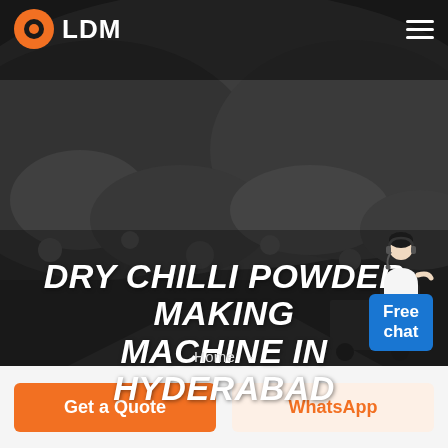LDM
[Figure (photo): Dark grey rocky mountainous terrain with coal-like gravel and a truck/machinery visible in the lower right, used as a hero background image]
[Figure (illustration): Free chat widget featuring a customer service representative avatar and a blue box labeled 'Free chat']
DRY CHILLI POWDER MAKING MACHINE IN HYDERABAD
Home  -
Get a Quote
WhatsApp